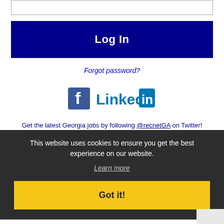[Figure (screenshot): Empty text input field with border]
[Figure (screenshot): Dark blue Log In button]
Forgot password?
[Figure (logo): Facebook and LinkedIn social media icons]
Get the latest Georgia jobs by following @recnetGA on Twitter!
This website uses cookies to ensure you get the best experience on our website.
Learn more
Got it!